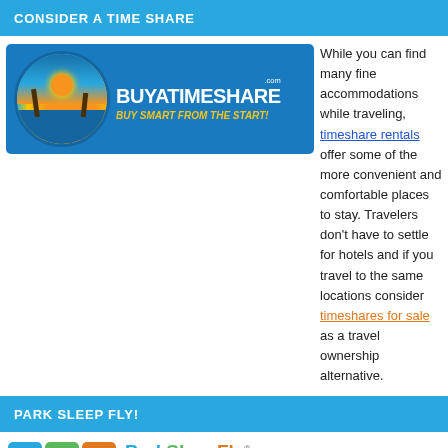CONSIDER A TIME SHARE
[Figure (logo): BuyATimeshare.com advertisement banner with tropical sunset logo circle and tagline BUY SMART FROM THE START!]
While you can find many fine accommodations while traveling, timeshare rentals offer some of the more convenient and comfortable places to stay. Travelers don't have to settle for hotels and if you travel to the same locations consider timeshares for sale as a travel ownership alternative.
PARK SLEEP FLY!
[Figure (logo): ParkSleepFly logo with three colored icons (P, bed, plane) and text Airport Hotel & Parking Packages]
[Figure (illustration): Luggage tag illustration with text Save BIG On: Airport Hotels FREE A... and a star/burst graphic, brown strap buckle at top]